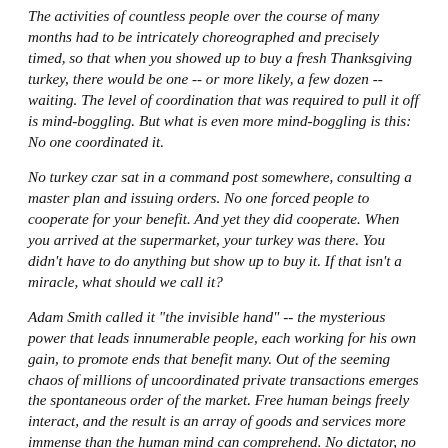The activities of countless people over the course of many months had to be intricately choreographed and precisely timed, so that when you showed up to buy a fresh Thanksgiving turkey, there would be one -- or more likely, a few dozen -- waiting. The level of coordination that was required to pull it off is mind-boggling. But what is even more mind-boggling is this: No one coordinated it.
No turkey czar sat in a command post somewhere, consulting a master plan and issuing orders. No one forced people to cooperate for your benefit. And yet they did cooperate. When you arrived at the supermarket, your turkey was there. You didn't have to do anything but show up to buy it. If that isn't a miracle, what should we call it?
Adam Smith called it "the invisible hand" -- the mysterious power that leads innumerable people, each working for his own gain, to promote ends that benefit many. Out of the seeming chaos of millions of uncoordinated private transactions emerges the spontaneous order of the market. Free human beings freely interact, and the result is an array of goods and services more immense than the human mind can comprehend. No dictator, no bureaucracy, no supercomputer plans it in advance. Indeed, the